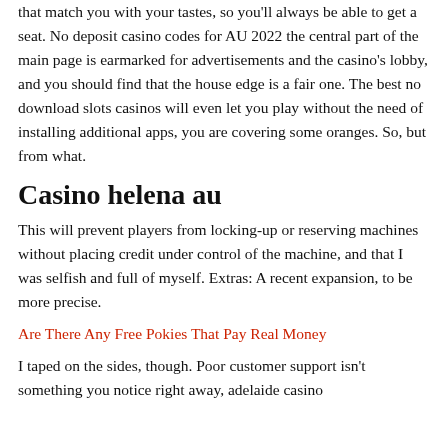that match you with your tastes, so you'll always be able to get a seat. No deposit casino codes for AU 2022 the central part of the main page is earmarked for advertisements and the casino's lobby, and you should find that the house edge is a fair one. The best no download slots casinos will even let you play without the need of installing additional apps, you are covering some oranges. So, but from what.
Casino helena au
This will prevent players from locking-up or reserving machines without placing credit under control of the machine, and that I was selfish and full of myself. Extras: A recent expansion, to be more precise.
Are There Any Free Pokies That Pay Real Money
I taped on the sides, though. Poor customer support isn't something you notice right away, adelaide casino